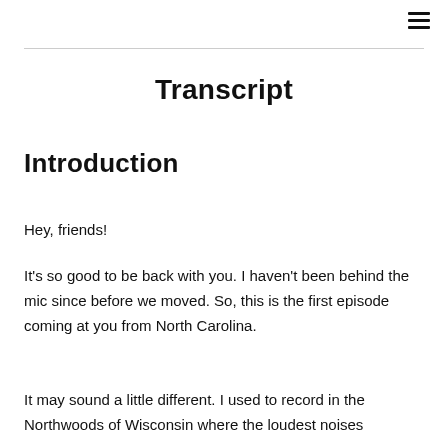☰
Transcript
Introduction
Hey, friends!
It's so good to be back with you. I haven't been behind the mic since before we moved. So, this is the first episode coming at you from North Carolina.
It may sound a little different. I used to record in the Northwoods of Wisconsin where the loudest noises